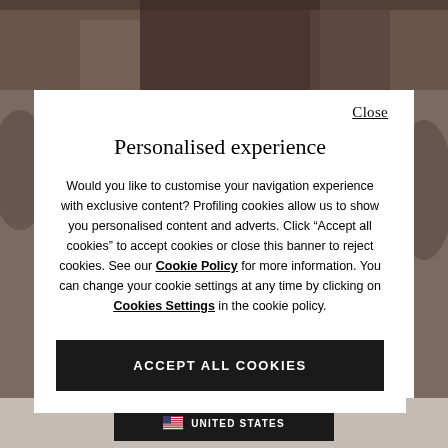[Figure (photo): Background photo showing fashion models wearing athletic/casual wear, partially obscured by modal dialog]
Personalised experience
Would you like to customise your navigation experience with exclusive content? Profiling cookies allow us to show you personalised content and adverts. Click “Accept all cookies” to accept cookies or close this banner to reject cookies. See our Cookie Policy for more information. You can change your cookie settings at any time by clicking on Cookies Settings in the cookie policy.
ACCEPT ALL COOKIES
UNITED STATES